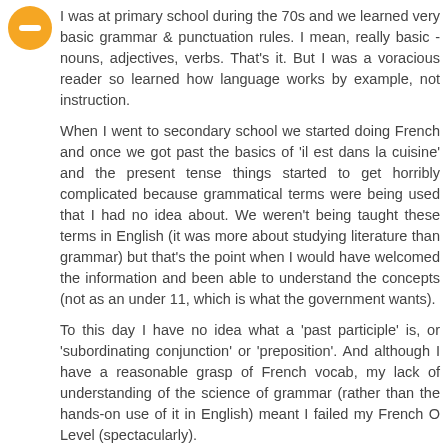[Figure (illustration): Orange circle avatar with a white minus/dash symbol in the center]
I was at primary school during the 70s and we learned very basic grammar & punctuation rules. I mean, really basic - nouns, adjectives, verbs. That's it. But I was a voracious reader so learned how language works by example, not instruction.
When I went to secondary school we started doing French and once we got past the basics of 'il est dans la cuisine' and the present tense things started to get horribly complicated because grammatical terms were being used that I had no idea about. We weren't being taught these terms in English (it was more about studying literature than grammar) but that's the point when I would have welcomed the information and been able to understand the concepts (not as an under 11, which is what the government wants).
To this day I have no idea what a 'past participle' is, or 'subordinating conjunction' or 'preposition'. And although I have a reasonable grasp of French vocab, my lack of understanding of the science of grammar (rather than the hands-on use of it in English) meant I failed my French O Level (spectacularly).
Reply